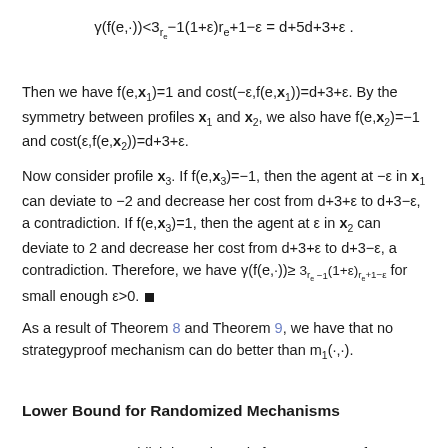Then we have f(e,x₁)=1 and cost(−ε,f(e,x₁))=d+3+ε. By the symmetry between profiles x₁ and x₂, we also have f(e,x₂)=−1 and cost(ε,f(e,x₂))=d+3+ε.
Now consider profile x₃. If f(e,x₃)=−1, then the agent at −ε in x₁ can deviate to −2 and decrease her cost from d+3+ε to d+3−ε, a contradiction. If f(e,x₃)=1, then the agent at ε in x₂ can deviate to 2 and decrease her cost from d+3+ε to d+3−ε, a contradiction. Therefore, we have γ(f(e,·))≥ 3rₑ−1(1+ε)rₑ+1−ε for small enough ε>0. ■
As a result of Theorem 8 and Theorem 9, we have that no strategyproof mechanism can do better than m₁(·,·).
Lower Bound for Randomized Mechanisms
Next, we can establish lower bounds for strategyproof